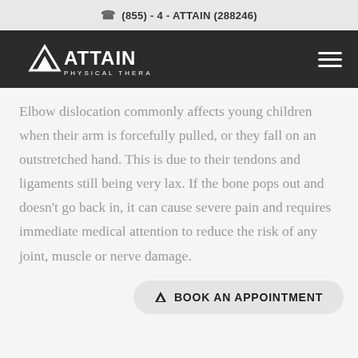(855) - 4 - ATTAIN (288246)
[Figure (logo): Attain Physical Therapy logo — white triangle/mountain icon with ATTAIN text and PHYSICAL THERAPY subtitle on dark background]
Elbow dislocation commonly affects young children when their arm is forcefully pulled, or they fall on an outstretched hand. This is due to their tendons and ligaments still being very lax. If the bone pops out and doesn't go back in, it can cause severe pain and requires immediate medical attention to reduce the risk of any joint, muscle or nerve damage.
BOOK AN APPOINTMENT